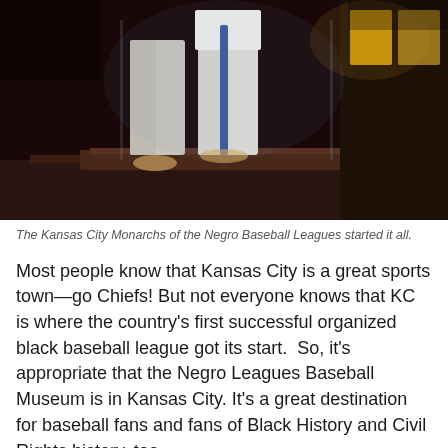[Figure (photo): Museum display case showing Kansas City Monarchs baseball uniforms/pants on display in a dimly lit exhibit, with glass case and brown wood platform. Illuminated photographs or posters visible in the background on the right.]
The Kansas City Monarchs of the Negro Baseball Leagues started it all.
Most people know that Kansas City is a great sports town—go Chiefs! But not everyone knows that KC is where the country's first successful organized black baseball league got its start.  So, it's appropriate that the Negro Leagues Baseball Museum is in Kansas City. It's a great destination for baseball fans and fans of Black History and Civil Rights history, too.
Empowerment and Entrepreneurial Spirit